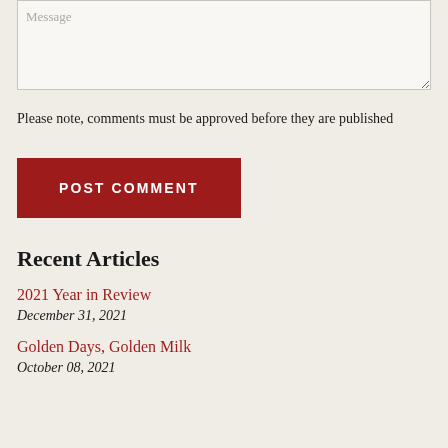Message
Please note, comments must be approved before they are published
POST COMMENT
Recent Articles
2021 Year in Review
December 31, 2021
Golden Days, Golden Milk
October 08, 2021